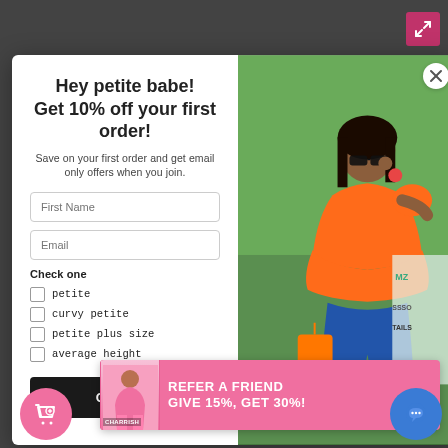[Figure (screenshot): E-commerce website screenshot showing a product page in the background with a dark overlay. A modal popup is displayed in the foreground.]
Hey petite babe! Get 10% off your first order!
Save on your first order and get email only offers when you join.
First Name
Email
Check one
petite
curvy petite
petite plus size
average height
Continue
REFER A FRIEND GIVE 15%, GET 30%!
[Figure (photo): Woman wearing orange one-shoulder peplum top, blue jeans, and orange accessories posing outdoors near a cafe sign.]